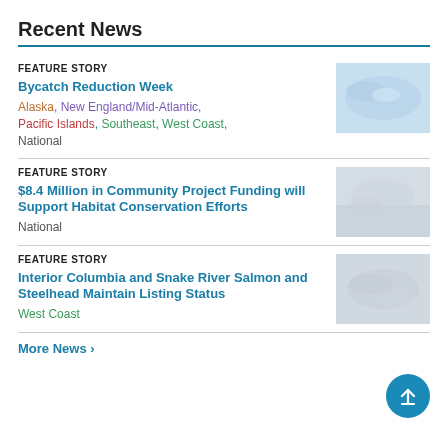Recent News
FEATURE STORY
Bycatch Reduction Week
Alaska, New England/Mid-Atlantic, Pacific Islands, Southeast, West Coast, National
[Figure (photo): Underwater photo, light blue tones, fish or marine scene]
FEATURE STORY
$8.4 Million in Community Project Funding will Support Habitat Conservation Efforts
National
[Figure (photo): Gray-toned outdoor or wildlife photo]
FEATURE STORY
Interior Columbia and Snake River Salmon and Steelhead Maintain Listing Status
West Coast
[Figure (photo): Gray-toned river or fish photo]
More News >